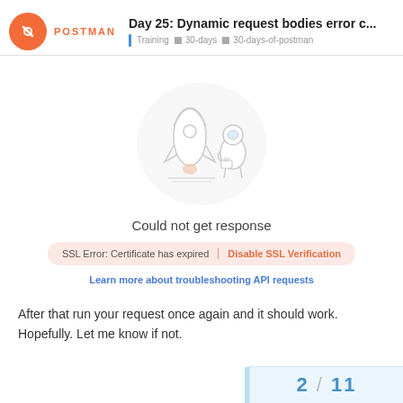Day 25: Dynamic request bodies error c... | Training | 30-days | 30-days-of-postman
[Figure (illustration): Postman-style illustration of a rocket and astronaut in light gray tones on a circular background]
Could not get response
SSL Error: Certificate has expired | Disable SSL Verification
Learn more about troubleshooting API requests
After that run your request once again and it should work. Hopefully. Let me know if not.
2 / 11